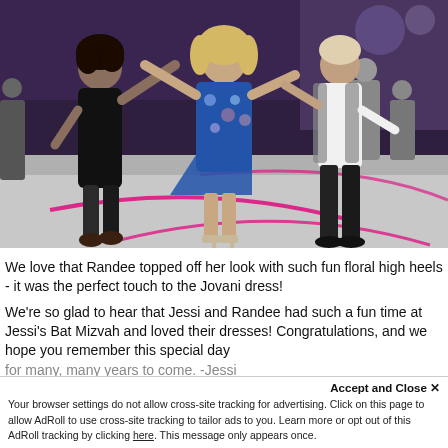[Figure (photo): People dancing at what appears to be a Bat Mizvah party. A woman in a black dress on the left, a woman in a blue floral dress with high heeled sandals in the center, and a man in a white shirt and dark pants on the right, all on a dance floor with pink decorative lines.]
We love that Randee topped off her look with such fun floral high heels - it was the perfect touch to the Jovani dress!
We're so glad to hear that Jessi and Randee had such a fun time at Jessi's Bat Mizvah and loved their dresses! Congratulations, and we hope you remember this special day for many, many years to come. -Jessi
Accept and Close ✕
Your browser settings do not allow cross-site tracking for advertising. Click on this page to allow AdRoll to use cross-site tracking to tailor ads to you. Learn more or opt out of this AdRoll tracking by clicking here. This message only appears once.